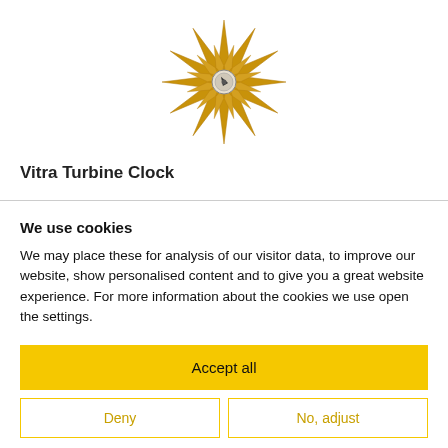[Figure (photo): Vitra Turbine Clock product photo — a starburst/turbine-shaped clock with golden/amber-colored blades radiating outward, small round center hub, photographed on white background]
Vitra Turbine Clock
We use cookies
We may place these for analysis of our visitor data, to improve our website, show personalised content and to give you a great website experience. For more information about the cookies we use open the settings.
Accept all
Deny
No, adjust